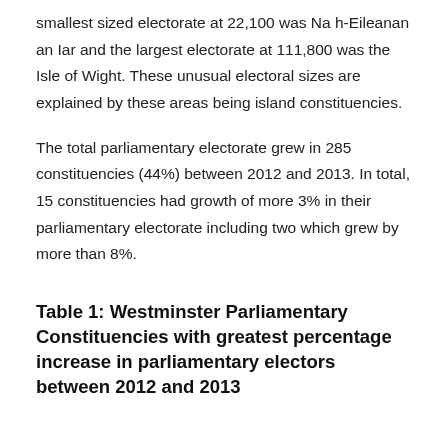smallest sized electorate at 22,100 was Na h-Eileanan an Iar and the largest electorate at 111,800 was the Isle of Wight. These unusual electoral sizes are explained by these areas being island constituencies.
The total parliamentary electorate grew in 285 constituencies (44%) between 2012 and 2013. In total, 15 constituencies had growth of more 3% in their parliamentary electorate including two which grew by more than 8%.
Table 1: Westminster Parliamentary Constituencies with greatest percentage increase in parliamentary electors between 2012 and 2013